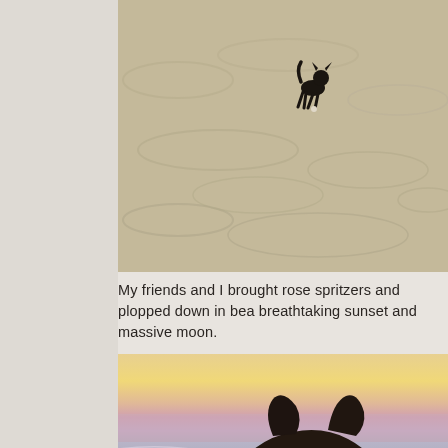[Figure (photo): A small black dog (silhouette) on a wide sandy beach, viewed from above/distance. The sand shows ripple patterns from above.]
My friends and I brought rose spritzers and plopped down in bea breathtaking sunset and massive moon.
[Figure (photo): Close-up of a dark-colored small dog (possibly a French Bulldog or Chihuahua) on a beach at sunset, with pink and yellow sky and ocean waves visible in the background.]